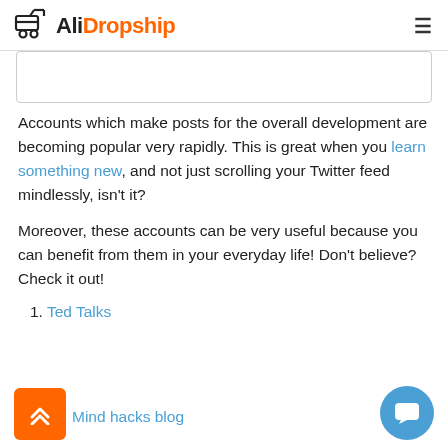AliDropship
[Figure (screenshot): Partial image placeholder with border]
Accounts which make posts for the overall development are becoming popular very rapidly. This is great when you learn something new, and not just scrolling your Twitter feed mindlessly, isn't it?
Moreover, these accounts can be very useful because you can benefit from them in your everyday life! Don't believe? Check it out!
1. Ted Talks
Mind hacks blog